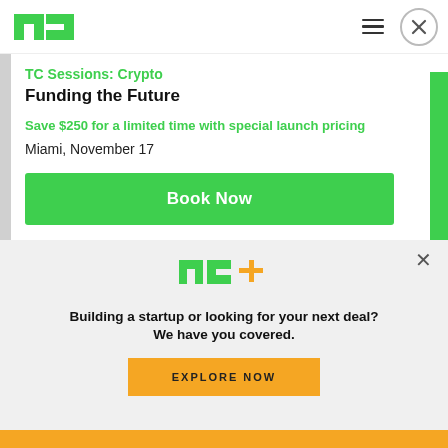TechCrunch navigation bar with TC logo, hamburger menu, and close button
[Figure (infographic): TC Sessions: Crypto promotional ad card. Title: 'TC Sessions: Crypto Funding the Future'. Promo text: 'Save $250 for a limited time with special launch pricing'. Location: 'Miami, November 17'. Green 'Book Now' button. Green vertical bar on right side.]
[Figure (infographic): TechCrunch TC+ banner with logo, tagline 'Building a startup or looking for your next deal? We have you covered.' and yellow 'EXPLORE NOW' button. Close X button top right.]